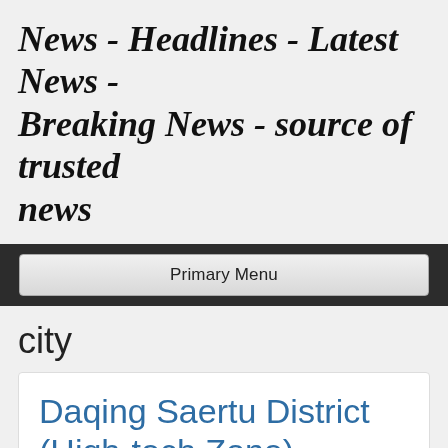News - Headlines - Latest News - Breaking News - source of trusted news
Primary Menu
city
Daqing Saertu District (High-tech Zone) announcement on the